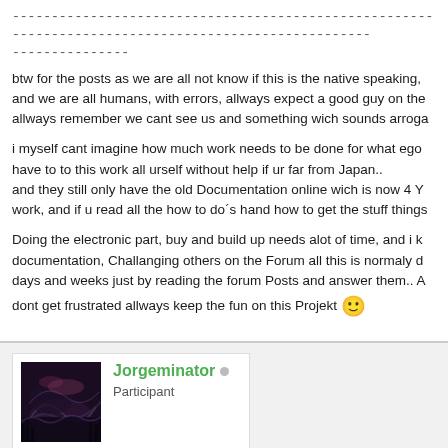----------------------------------------------------------------------------------------------------
---------------
btw for the posts as we are all not know if this is the native speaking, and we are all humans, with errors, allways expect a good guy on the allways remember we cant see us and something wich sounds arroga
i myself cant imagine how much work needs to be done for what ego have to to this work all urself without help if ur far from Japan.. and they still only have the old Documentation online wich is now 4 Y work, and if u read all the how to do´s hand how to get the stuff things
Doing the electronic part, buy and build up needs alot of time, and i k documentation, Challanging others on the Forum all this is normaly d days and weeks just by reading the forum Posts and answer them.. A dont get frustrated allways keep the fun on this Projekt 🙂
Jorgeminator
Participant
2016-06-01 16:18